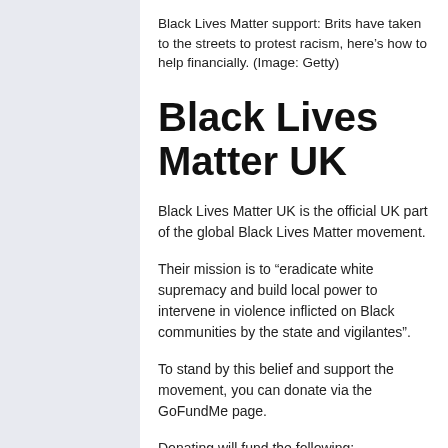Black Lives Matter support: Brits have taken to the streets to protest racism, here's how to help financially. (Image: Getty)
Black Lives Matter UK
Black Lives Matter UK is the official UK part of the global Black Lives Matter movement.
Their mission is to “eradicate white supremacy and build local power to intervene in violence inflicted on Black communities by the state and vigilantes”.
To stand by this belief and support the movement, you can donate via the GoFundMe page.
Donating will fund the following:
Work towards making change at the level of law.
Developing and distributing educational resources.
Developing and delivering healing practices in